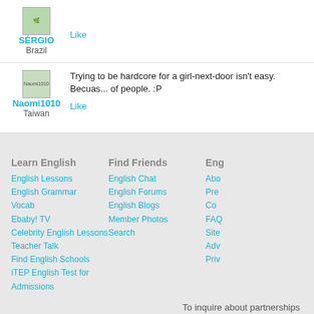SÉRGIO
Brazil
Like
Trying to be hardcore for a girl-next-door isn't easy. Becuas... of people. :P
Naomi1010
Taiwan
Like
Learn English
English Lessons
English Grammar
Vocab
Ebaby! TV
Celebrity English Lessons
Teacher Talk
Find English Schools
iTEP English Test for Admissions
Find Friends
English Chat
English Forums
English Blogs
Member Photos
Search
Eng...
Abo...
Pre...
Co...
FAQ
Site...
Adv...
Priv...
To inquire about partnerships